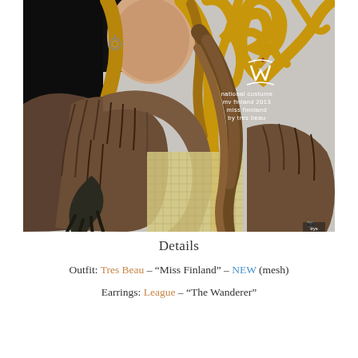[Figure (illustration): Digital artwork of a female avatar wearing a brown fur coat/national costume with clawed hands, long flowing blonde and brown hair, ornate earrings. Golden antler-like decoration in top right. Text overlay reads: national costume mv finland 2013 miss finnland by tres beau. Logo in bottom right corner.]
Details
Outfit: Tres Beau – "Miss Finland" – NEW (mesh)
Earrings: League – "The Wanderer"